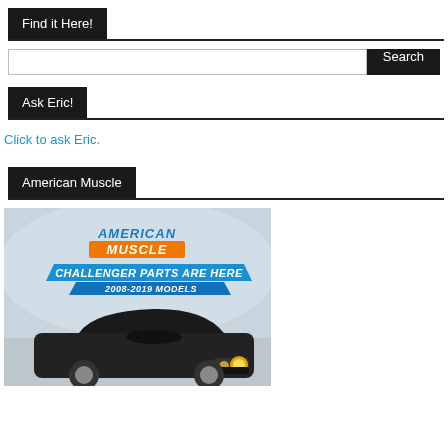Find it Here!
[Figure (screenshot): Search input box with Search button]
Ask Eric!
Click to ask Eric.
American Muscle
[Figure (illustration): American Muscle advertisement banner showing a Dodge Challenger with text: AMERICAN MUSCLE, CHALLENGER PARTS ARE HERE, 2008-2019 MODELS]